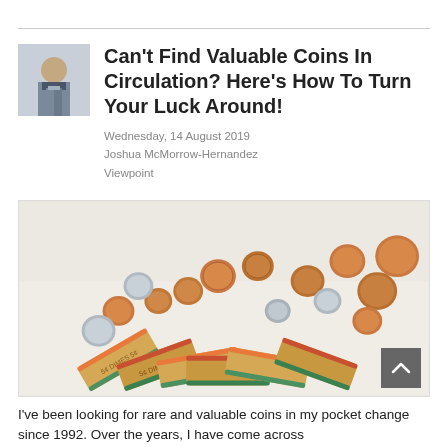[Figure (photo): Author headshot photo of Joshua McMorrow-Hernandez, a man in a suit]
Can't Find Valuable Coins In Circulation? Here's How To Turn Your Luck Around!
Wednesday, 14 August 2019
Joshua McMorrow-Hernandez
Viewpoint
[Figure (photo): Photo of coin rolls and loose pennies/coins scattered on a white surface]
I've been looking for rare and valuable coins in my pocket change since 1992. Over the years, I have come across